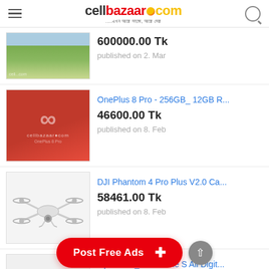cellbazaar.com
600000.00 Tk
published on 2. Mar
OnePlus 8 Pro - 256GB_ 12GB R...
46600.00 Tk
published on 8. Feb
DJI Phantom 4 Pro Plus V2.0 Ca...
58461.00 Tk
published on 8. Feb
Open Box_ Xbox One S All Digit...
Post Free Ads